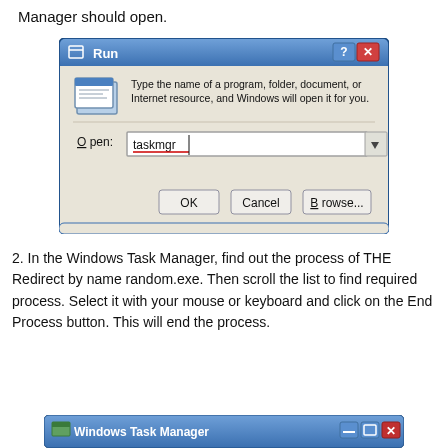Manager should open.
[Figure (screenshot): Windows Run dialog box with 'taskmgr' typed in the Open field, with OK, Cancel, and Browse buttons]
2. In the Windows Task Manager, find out the process of THE Redirect by name random.exe. Then scroll the list to find required process. Select it with your mouse or keyboard and click on the End Process button. This will end the process.
[Figure (screenshot): Windows Task Manager title bar at bottom of page]